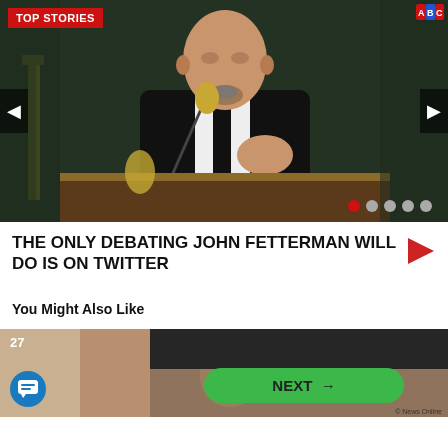[Figure (photo): News website screenshot showing a bald man in a black suit at a podium with a microphone, with TOP STORIES banner, navigation arrows, and carousel dots overlay]
THE ONLY DEBATING JOHN FETTERMAN WILL DO IS ON TWITTER
You Might Also Like
[Figure (photo): Close-up photo of a person's face/ear with a NEXT button overlay and number badge 27 and chat icon]